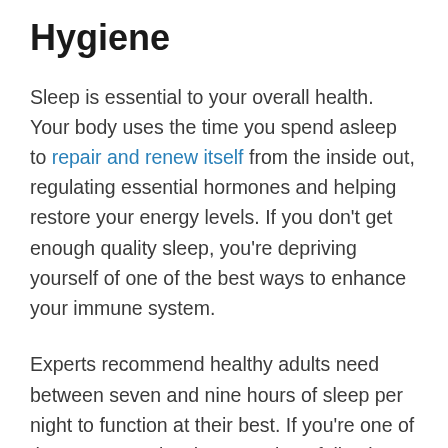Hygiene
Sleep is essential to your overall health. Your body uses the time you spend asleep to repair and renew itself from the inside out, regulating essential hormones and helping restore your energy levels. If you don't get enough quality sleep, you're depriving yourself of one of the best ways to enhance your immune system.
Experts recommend healthy adults need between seven and nine hours of sleep per night to function at their best. If you're one of the many people who struggle to fall asleep or